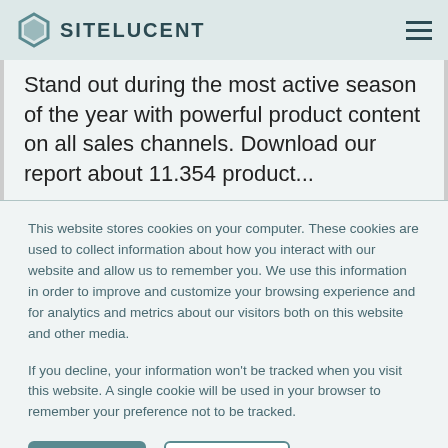SITELUCENT
Stand out during the most active season of the year with powerful product content on all sales channels. Download our report about 11.354 product...
This website stores cookies on your computer. These cookies are used to collect information about how you interact with our website and allow us to remember you. We use this information in order to improve and customize your browsing experience and for analytics and metrics about our visitors both on this website and other media.

If you decline, your information won't be tracked when you visit this website. A single cookie will be used in your browser to remember your preference not to be tracked.
Accept | Decline